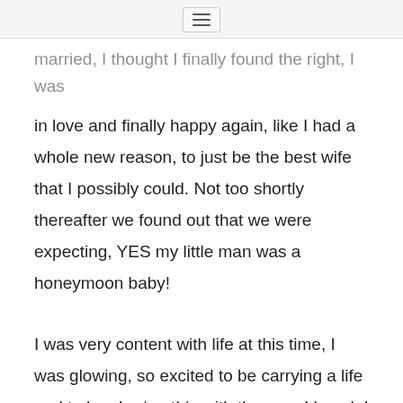≡
married, I thought I finally found the right, I was in love and finally happy again, like I had a whole new reason, to just be the best wife that I possibly could. Not too shortly thereafter we found out that we were expecting, YES my little man was a honeymoon baby!
I was very content with life at this time, I was glowing, so excited to be carrying a life and to be sharing this with the man I loved, I also only gained 10kg throughout my entire pregnancy